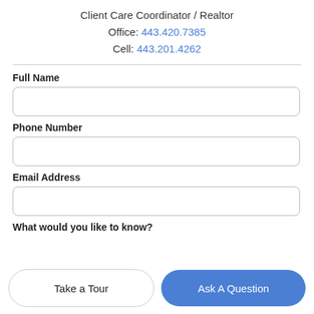Client Care Coordinator / Realtor
Office: 443.420.7385
Cell: 443.201.4262
Full Name
Phone Number
Email Address
What would you like to know?
Take a Tour
Ask A Question